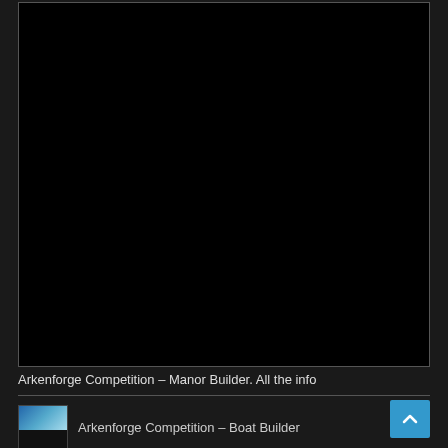[Figure (photo): Large black rectangular image area with a thin border, occupying most of the upper portion of the page. The image content is not visible (appears as solid black).]
Arkenforge Competition – Manor Builder. All the info
[Figure (photo): Small thumbnail image showing a blue and teal gradient surface with a dark lower section, representing the Arkenforge Competition – Boat Builder page thumbnail.]
Arkenforge Competition – Boat Builder